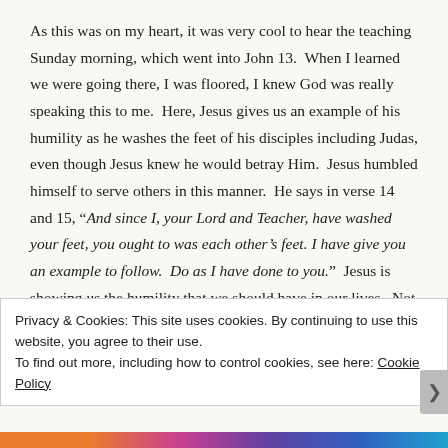As this was on my heart, it was very cool to hear the teaching Sunday morning, which went into John 13.  When I learned we were going there, I was floored, I knew God was really speaking this to me.  Here, Jesus gives us an example of his humility as he washes the feet of his disciples including Judas, even though Jesus knew he would betray Him.  Jesus humbled himself to serve others in this manner.  He says in verse 14 and 15, “And since I, your Lord and Teacher, have washed your feet, you ought to was each other’s feet. I have give you an example to follow.  Do as I have done to you.”  Jesus is showing us the humility that we should have in our lives.  Not putting ourselves above
Privacy & Cookies: This site uses cookies. By continuing to use this website, you agree to their use.
To find out more, including how to control cookies, see here: Cookie Policy
Close and accept